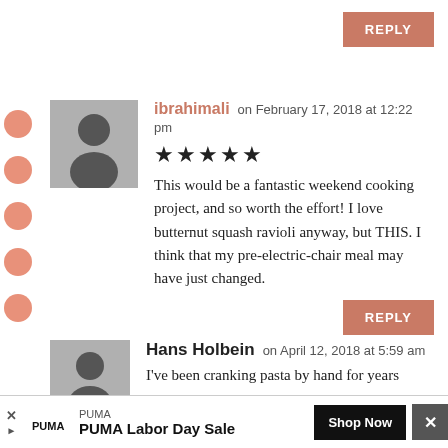[Figure (other): REPLY button at top right, salmon/terracotta color]
[Figure (other): User avatar placeholder (gray silhouette) for ibrahimali]
ibrahimali on February 17, 2018 at 12:22 pm
★★★★★
This would be a fantastic weekend cooking project, and so worth the effort! I love butternut squash ravioli anyway, but THIS. I think that my pre-electric-chair meal may have just changed.
[Figure (other): REPLY button, salmon/terracotta color]
[Figure (other): User avatar placeholder (gray silhouette) for Hans Holbein]
Hans Holbein on April 12, 2018 at 5:59 am
I've been cranking pasta by hand for years
[Figure (other): PUMA Labor Day Sale advertisement banner with Shop Now button]